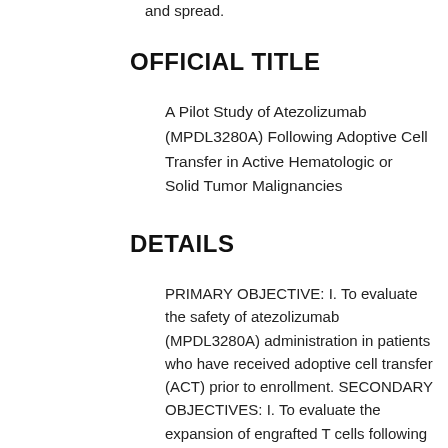and spread.
OFFICIAL TITLE
A Pilot Study of Atezolizumab (MPDL3280A) Following Adoptive Cell Transfer in Active Hematologic or Solid Tumor Malignancies
DETAILS
PRIMARY OBJECTIVE: I. To evaluate the safety of atezolizumab (MPDL3280A) administration in patients who have received adoptive cell transfer (ACT) prior to enrollment. SECONDARY OBJECTIVES: I. To evaluate the expansion of engrafted T cells following atezolizumab administration in the peripheral blood and within the tumor microenvironment. II. To evaluate the phenotype and function of engrafted T cells